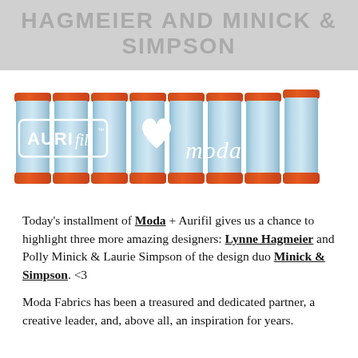HAGMEIER AND MINICK & SIMPSON
[Figure (photo): Row of 8 light blue Aurifil thread spools with orange tops and bottoms, overlaid with Aurifil loves Moda logo in white text]
Today's installment of Moda + Aurifil gives us a chance to highlight three more amazing designers: Lynne Hagmeier and Polly Minick & Laurie Simpson of the design duo Minick & Simpson. <3
Moda Fabrics has been a treasured and dedicated partner, a creative leader, and, above all, an inspiration for years.